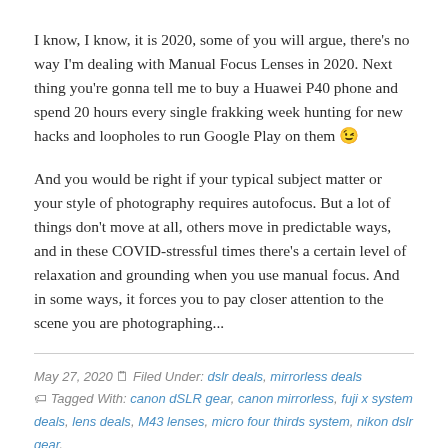I know, I know, it is 2020, some of you will argue, there's no way I'm dealing with Manual Focus Lenses in 2020. Next thing you're gonna tell me to buy a Huawei P40 phone and spend 20 hours every single frakking week hunting for new hacks and loopholes to run Google Play on them 😉
And you would be right if your typical subject matter or your style of photography requires autofocus. But a lot of things don't move at all, others move in predictable ways, and in these COVID-stressful times there's a certain level of relaxation and grounding when you use manual focus. And in some ways, it forces you to pay closer attention to the scene you are photographing...
May 27, 2020 📋 Filed Under: dslr deals, mirrorless deals Tagged With: canon dSLR gear, canon mirrorless, fuji x system deals, lens deals, M43 lenses, micro four thirds system, nikon dslr gear, nikon mirrorless, rokinon, samyang, sony e-mount deals